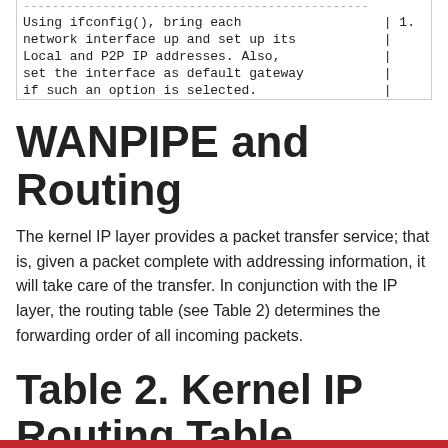| Description | Step |
| --- | --- |
| -------------------------------------------------- |  |
| Using ifconfig(), bring each network interface up and set up its Local and P2P IP addresses. Also, set the interface as default gateway if such an option is selected. | 1. |
WANPIPE and Routing
The kernel IP layer provides a packet transfer service; that is, given a packet complete with addressing information, it will take care of the transfer. In conjunction with the IP layer, the routing table (see Table 2) determines the forwarding order of all incoming packets.
Table 2. Kernel IP Routing Table
| Destination | Gateway | Genmask | Flags |
| --- | --- | --- | --- |